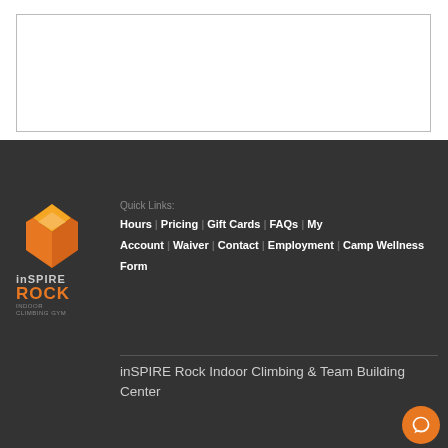[Figure (other): White bordered box at top of page, representing a content/ad area]
[Figure (logo): inSPIRE Rock Indoor Climbing Gym logo with orange geometric rock shape icon, text reading inSPIRE ROCK INDOOR CLIMBING GYM]
Quick Links:
Hours | Pricing | Gift Cards | FAQs | My Account | Waiver | Contact | Employment | Camp Wellness Form
inSPIRE Rock Indoor Climbing & Team Building Center
inSPIRE Cypress
inSPIRE Spring